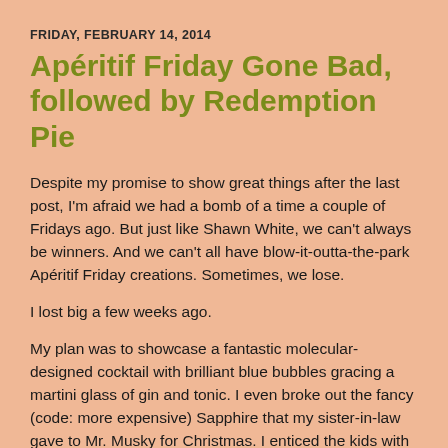FRIDAY, FEBRUARY 14, 2014
Apéritif Friday Gone Bad, followed by Redemption Pie
Despite my promise to show great things after the last post, I'm afraid we had a bomb of a time a couple of Fridays ago. But just like Shawn White, we can't always be winners. And we can't all have blow-it-outta-the-park Apéritif Friday creations. Sometimes, we lose.
I lost big a few weeks ago.
My plan was to showcase a fantastic molecular-designed cocktail with brilliant blue bubbles gracing a martini glass of gin and tonic. I even broke out the fancy (code: more expensive) Sapphire that my sister-in-law gave to Mr. Musky for Christmas. I enticed the kids with a chemistry experiment to lure them into our graces for the evening and spend some quality time together. One kid bought in immediately,